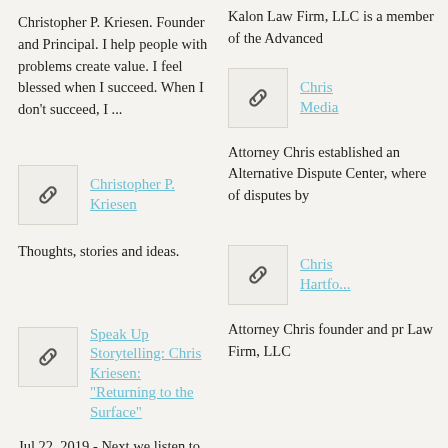Christopher P. Kriesen. Founder and Principal. I help people with problems create value. I feel blessed when I succeed. When I don't succeed, I ...
[Figure (illustration): Chain link icon in a bordered square]
Christopher P. Kriesen
Thoughts, stories and ideas.
[Figure (illustration): Chain link icon in a bordered square]
Speak Up Storytelling: Chris Kriesen: "Returning to the Surface"
Jul 22, 2019 - Next we listen to a story by Christopher Kriesen. Amongst the
Kalon Law Firm, LLC is a member of the Advanced
[Figure (illustration): Chain link icon in a bordered square]
Chris Media
Attorney Chris established an Alternative Dispute Center, where of disputes by
[Figure (illustration): Chain link icon in a bordered square]
Chris Hartford
Attorney Chris founder and principal Law Firm, LLC